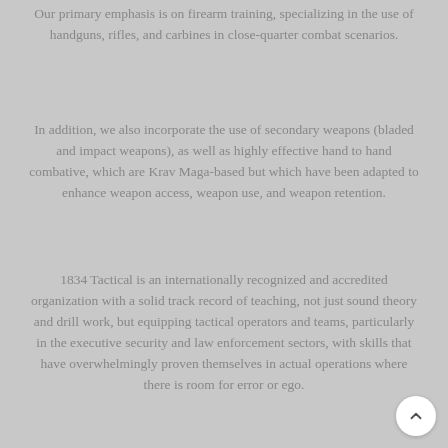Our primary emphasis is on firearm training, specializing in the use of handguns, rifles, and carbines in close-quarter combat scenarios.
In addition, we also incorporate the use of secondary weapons (bladed and impact weapons), as well as highly effective hand to hand combative, which are Krav Maga-based but which have been adapted to enhance weapon access, weapon use, and weapon retention.
1834 Tactical is an internationally recognized and accredited organization with a solid track record of teaching, not just sound theory and drill work, but equipping tactical operators and teams, particularly in the executive security and law enforcement sectors, with skills that have overwhelmingly proven themselves in actual operations where there is room for error or ego.